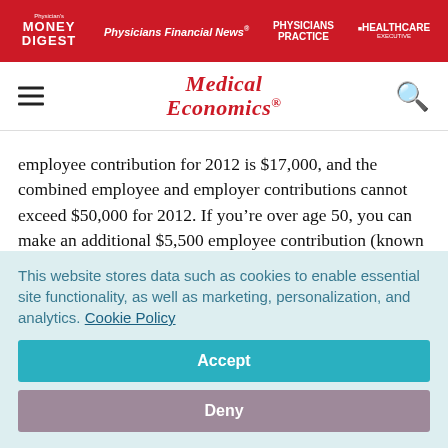Physician's Money Digest | Physicians Financial News | Physicians Practice | Healthcare Executive
[Figure (logo): Medical Economics logo in red italic serif font]
employee contribution for 2012 is $17,000, and the combined employee and employer contributions cannot exceed $50,000 for 2012. If you're over age 50, you can make an additional $5,500 employee contribution (known as a catch up contribution). So if your income is high enough, you can contribute $55,500 total this year. That's a pretty sweet deal.
This website stores data such as cookies to enable essential site functionality, as well as marketing, personalization, and analytics. Cookie Policy